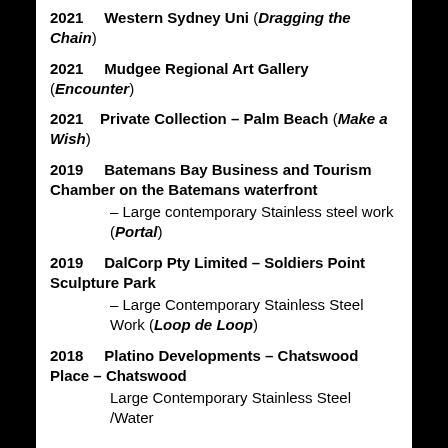2021  Western Sydney Uni (Dragging the Chain)
2021  Mudgee Regional Art Gallery  (Encounter)
2021  Private Collection – Palm Beach (Make a Wish)
2019  Batemans Bay Business and Tourism Chamber on the Batemans waterfront – Large contemporary Stainless steel work (Portal)
2019  DalCorp Pty Limited – Soldiers Point Sculpture Park – Large Contemporary Stainless Steel Work (Loop de Loop)
2018  Platino Developments – Chatswood Place – Chatswood  Large Contemporary Stainless Steel /Water